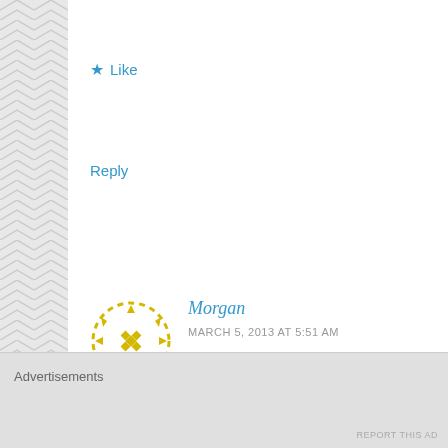★ Like
Reply
[Figure (illustration): Circular yellow dashed avatar icon with diamond dot pattern]
Morgan
MARCH 5, 2013 AT 5:51 AM
Wing or no wing they are both adorable!!! I love th
★ Like
Reply
[Figure (photo): Small circular avatar showing a cupcake photo]
sweetsimplestuff
Advertisements
REPORT THIS AD